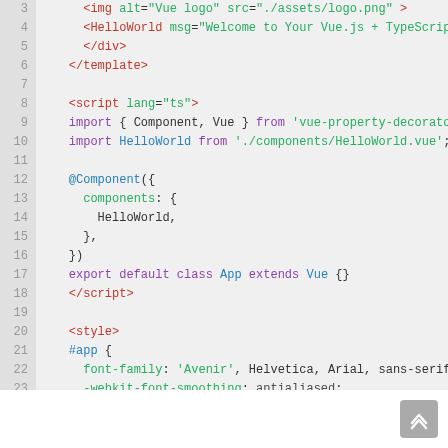[Figure (screenshot): Code editor screenshot showing Vue.js + TypeScript component file (App.vue) with syntax highlighting. Lines 3-29 visible, showing template closing tags, script block with TypeScript imports and @Component decorator, and style block with CSS properties.]